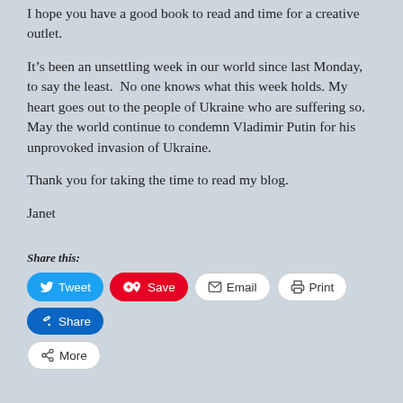I hope you have a good book to read and time for a creative outlet.
It’s been an unsettling week in our world since last Monday, to say the least. No one knows what this week holds. My heart goes out to the people of Ukraine who are suffering so. May the world continue to condemn Vladimir Putin for his unprovoked invasion of Ukraine.
Thank you for taking the time to read my blog.
Janet
Share this:
[Figure (other): Social share buttons: Tweet, Save, Email, Print, Share, More]